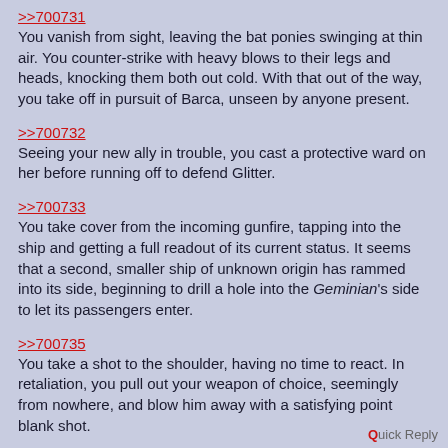>>700731
You vanish from sight, leaving the bat ponies swinging at thin air. You counter-strike with heavy blows to their legs and heads, knocking them both out cold. With that out of the way, you take off in pursuit of Barca, unseen by anyone present.
>>700732
Seeing your new ally in trouble, you cast a protective ward on her before running off to defend Glitter.
>>700733
You take cover from the incoming gunfire, tapping into the ship and getting a full readout of its current status. It seems that a second, smaller ship of unknown origin has rammed into its side, beginning to drill a hole into the Geminian's side to let its passengers enter.
>>700735
You take a shot to the shoulder, having no time to react. In retaliation, you pull out your weapon of choice, seemingly from nowhere, and blow him away with a satisfying point blank shot.
>>700736
With the concert having turned to complete bedlam, you do the one thing you know best and start banging out a beat. The show must go on, after all. While it goes largely ignored, it does seem to help in some respect, as some of